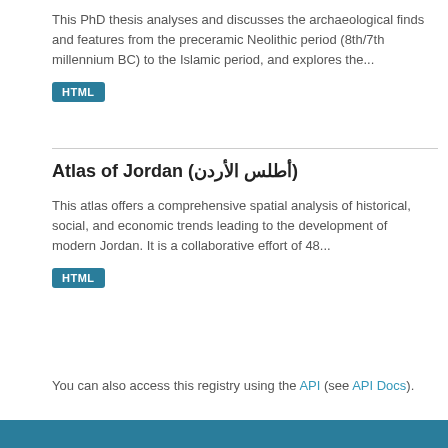This PhD thesis analyses and discusses the archaeological finds and features from the preceramic Neolithic period (8th/7th millennium BC) to the Islamic period, and explores the...
HTML
Atlas of Jordan (أطلس الأردن)
This atlas offers a comprehensive spatial analysis of historical, social, and economic trends leading to the development of modern Jordan. It is a collaborative effort of 48...
HTML
You can also access this registry using the API (see API Docs).